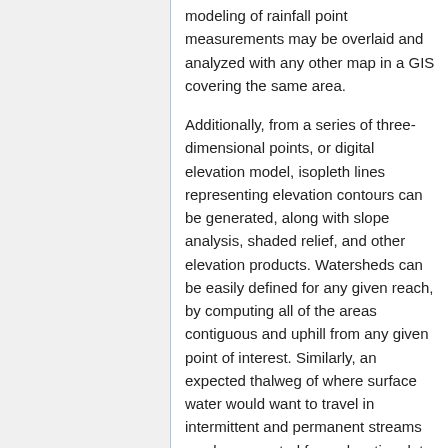modeling of rainfall point measurements may be overlaid and analyzed with any other map in a GIS covering the same area.
Additionally, from a series of three-dimensional points, or digital elevation model, isopleth lines representing elevation contours can be generated, along with slope analysis, shaded relief, and other elevation products. Watersheds can be easily defined for any given reach, by computing all of the areas contiguous and uphill from any given point of interest. Similarly, an expected thalweg of where surface water would want to travel in intermittent and permanent streams can be computed from elevation data in the GIS.
Topological modeling